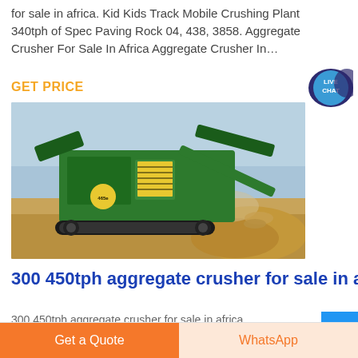for sale in africa. Kid Kids Track Mobile Crushing Plant 340tph of Spec Paving Rock 04, 438, 3858. Aggregate Crusher For Sale In Africa Aggregate Crusher In...
GET PRICE
[Figure (photo): Green mobile track-mounted aggregate crusher/crushing plant operating in a quarry, discharging crushed rock/gravel. Outdoor setting with dirt and aggregate piles visible.]
300 450tph aggregate crusher for sale in afr
300 450tph aggregate crusher for sale in africa
Get a Quote
WhatsApp